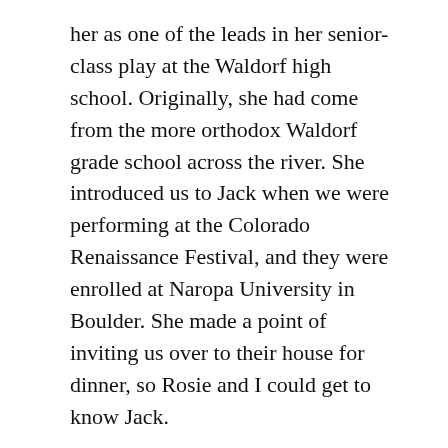her as one of the leads in her senior-class play at the Waldorf high school. Originally, she had come from the more orthodox Waldorf grade school across the river. She introduced us to Jack when we were performing at the Colorado Renaissance Festival, and they were enrolled at Naropa University in Boulder. She made a point of inviting us over to their house for dinner, so Rosie and I could get to know Jack.
Jack was tall with a sparkle in his eyes and dreams of becoming a professional clown. After he graduated from college, I trained him in my approach and directed him in a show I called, Cirque de la Loon, for a summer gig at a local amusement park. That same summer his girlfriend became pregnant. I convinced Rosie to